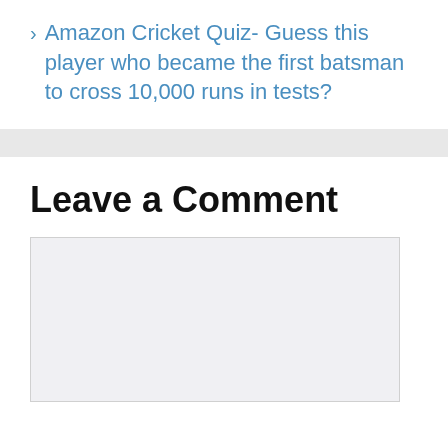Amazon Cricket Quiz- Guess this player who became the first batsman to cross 10,000 runs in tests?
Leave a Comment